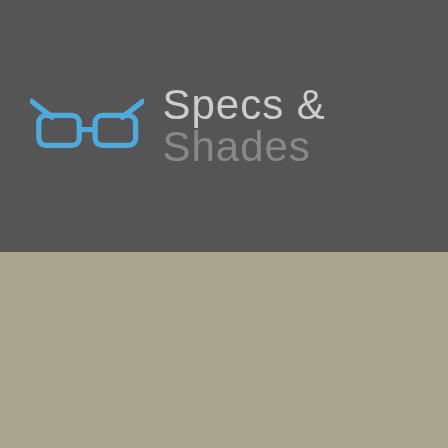[Figure (logo): Specs & Shades logo with blue glasses icon and text on dark grey background]
Glasses Repair
Chanel Glasses
FCUK
Gucci
Oakley
Police
Prada